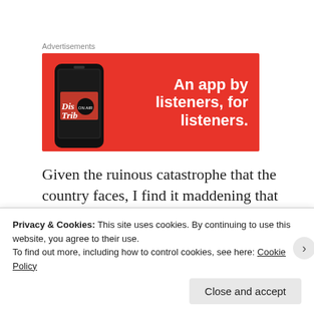Advertisements
[Figure (illustration): Red advertisement banner for a podcast app showing a smartphone with 'Dis Trib' text and the tagline 'An app by listeners, for listeners.']
Given the ruinous catastrophe that the country faces, I find it maddening that some progressives think that the president is going to be able to achieve something on the while
Privacy & Cookies: This site uses cookies. By continuing to use this website, you agree to their use.
To find out more, including how to control cookies, see here: Cookie Policy
Close and accept